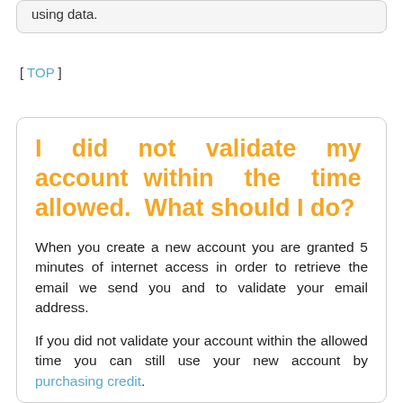using data.
[ TOP ]
I did not validate my account within the time allowed. What should I do?
When you create a new account you are granted 5 minutes of internet access in order to retrieve the email we send you and to validate your email address.
If you did not validate your account within the allowed time you can still use your new account by purchasing credit.
Alternatively you could create a new account and then validate it, or connect to the internet using an access code which you can purchase online and using a list of...